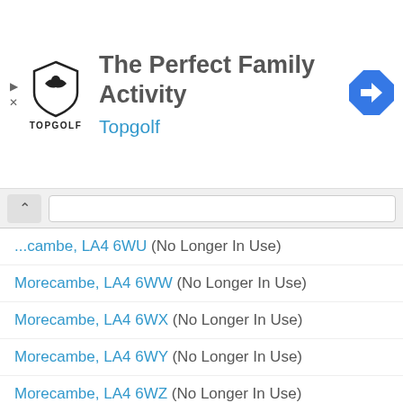[Figure (logo): Topgolf advertisement banner with logo, title 'The Perfect Family Activity', subtitle 'Topgolf', and a navigation icon]
...cambe, LA4 6WU (No Longer In Use)
Morecambe, LA4 6WW (No Longer In Use)
Morecambe, LA4 6WX (No Longer In Use)
Morecambe, LA4 6WY (No Longer In Use)
Morecambe, LA4 6WZ (No Longer In Use)
Morecambe, LA4 6XA (No Longer In Use)
Morecambe, LA4 6XB (No Longer In Use)
Morecambe, LA4 6XD (No Longer In Use)
Morecambe, LA4 6XE (No Longer In Use)
Morecambe, LA4 9AA (No Longer In Use)
Morecambe, LA4 9AB (No Longer In Use)
Morecambe, LA4 9AD (No Longer In Use)